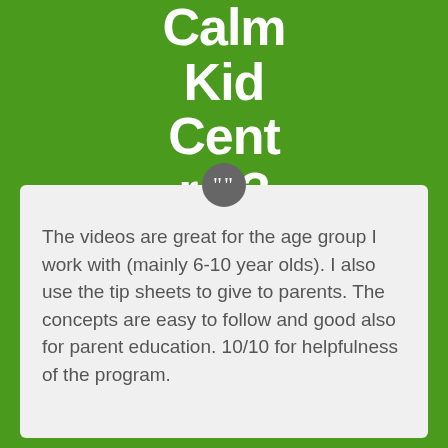Calm Kid Central?
The videos are great for the age group I work with (mainly 6-10 year olds). I also use the tip sheets to give to parents. The concepts are easy to follow and good also for parent education. 10/10 for helpfulness of the program.